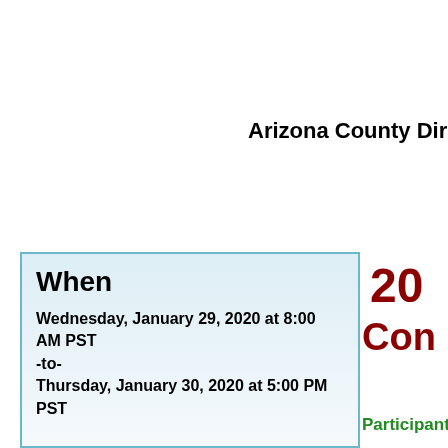Arizona County Directo
When
Wednesday, January 29, 2020 at 8:00 AM PST
-to-
Thursday, January 30, 2020 at 5:00 PM PST
20
Con
Participants